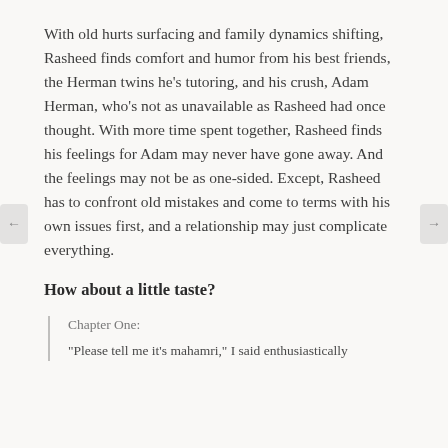With old hurts surfacing and family dynamics shifting, Rasheed finds comfort and humor from his best friends, the Herman twins he’s tutoring, and his crush, Adam Herman, who’s not as unavailable as Rasheed had once thought. With more time spent together, Rasheed finds his feelings for Adam may never have gone away. And the feelings may not be as one-sided. Except, Rasheed has to confront old mistakes and come to terms with his own issues first, and a relationship may just complicate everything.
How about a little taste?
Chapter One:
“Please tell me it’s mahamri,” I said enthusiastically